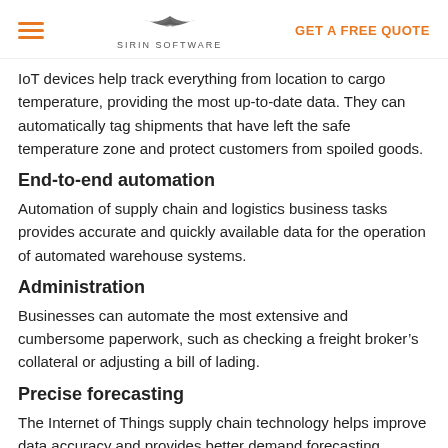SIRIN SOFTWARE | GET A FREE QUOTE
IoT devices help track everything from location to cargo temperature, providing the most up-to-date data. They can automatically tag shipments that have left the safe temperature zone and protect customers from spoiled goods.
End-to-end automation
Automation of supply chain and logistics business tasks provides accurate and quickly available data for the operation of automated warehouse systems.
Administration
Businesses can automate the most extensive and cumbersome paperwork, such as checking a freight broker's collateral or adjusting a bill of lading.
Precise forecasting
The Internet of Things supply chain technology helps improve data accuracy and provides better demand forecasting materials by: